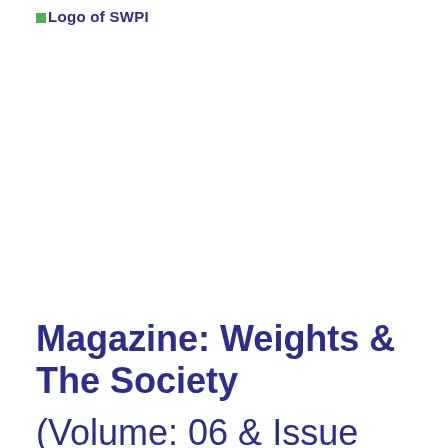[Figure (logo): Logo of SWPI — broken image placeholder with alt text 'Logo of SWPI']
Magazine: Weights & The Society
(Volume: 06  & Issue No.: 1)